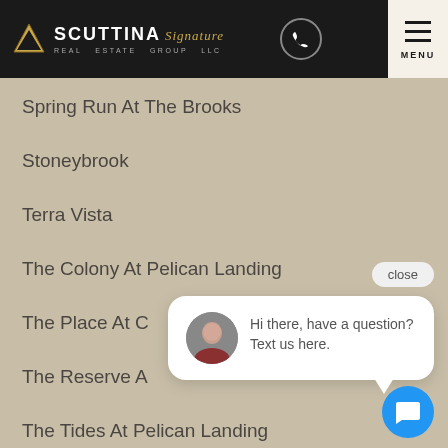Scuttina Signature Real Estate Group LLC
Spring Run At The Brooks
Stoneybrook
Terra Vista
The Colony At Pelican Landing
The Place At C...
The Reserve A...
The Tides At Pelican Landing
The Vines
[Figure (screenshot): Chat widget with close button and message: Hi there, have a question? Text us here.]